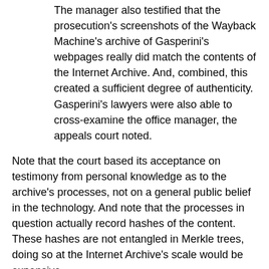The manager also testified that the prosecution's screenshots of the Wayback Machine's archive of Gasperini's webpages really did match the contents of the Internet Archive. And, combined, this created a sufficient degree of authenticity. Gasperini's lawyers were also able to cross-examine the office manager, the appeals court noted.
Note that the court based its acceptance on testimony from personal knowledge as to the archive's processes, not on a general public belief in the technology. And note that the processes in question actually record hashes of the content. These hashes are not entangled in Merkle trees, doing so at the Internet Archive's scale would be expensive.
The Third Circuit came to a similar conclusion via a similar route:
The appeals judges' decision reflected a similar one back in 2011 by the third circuit (United States v. Bansal) where a witness testified "from personal knowledge" how the Wayback Machine